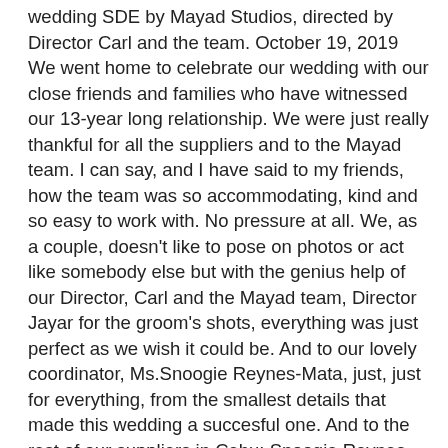wedding SDE by Mayad Studios, directed by Director Carl and the team. October 19, 2019 We went home to celebrate our wedding with our close friends and families who have witnessed our 13-year long relationship. We were just really thankful for all the suppliers and to the Mayad team. I can say, and I have said to my friends, how the team was so accommodating, kind and so easy to work with. No pressure at all. We, as a couple, doesn't like to pose on photos or act like somebody else but with the genius help of our Director, Carl and the Mayad team, Director Jayar for the groom's shots, everything was just perfect as we wish it could be. And to our lovely coordinator, Ms.Snoogie Reynes-Mata, just, just for everything, from the smallest details that made this wedding a succesful one. And to the rest of our suppliers in Cebu: Snoogie Reynes-Mata · Alvin Asayas · Mayad Studios · Philipp Tampus · Agel Tio-Go · Mike Yapching · Jomer Arances · JQ Lights and Sounds · Celestial Voices Chorale · LMG · Bridal Bimmer · Erick Alazas · Adlib Band · Joseph Ong Photoman · Salt · Swirl · Charlton Trading · Jan Areno · DJ John Bosque . * Nina Leather PH * Boxify PH * Vin & Weller * #GERARDsKIRSTandlast #MayadStudios #MayadCarl #CebuWedding PreNup Photos by Alvin Asayas